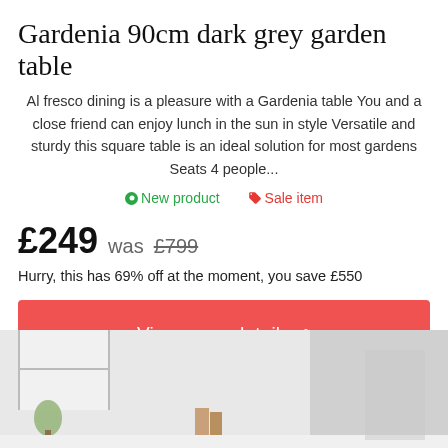Gardenia 90cm dark grey garden table
Al fresco dining is a pleasure with a Gardenia table You and a close friend can enjoy lunch in the sun in style Versatile and sturdy this square table is an ideal solution for most gardens Seats 4 people...
New product   Sale item
£249 was £799
Hurry, this has 69% off at the moment, you save £550
View more details >
[Figure (photo): Photo of a room/garden area, partially visible at bottom of page showing a light interior scene with plants and furniture]